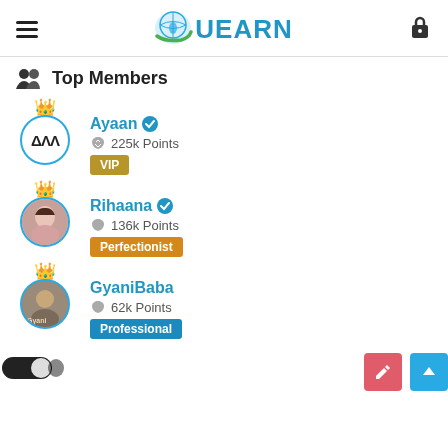QUEARN
Top Members
Ayaan - 225k Points - VIP
Rihaana - 136k Points - Perfectionist
GyaniBaba - 62k Points - Professional